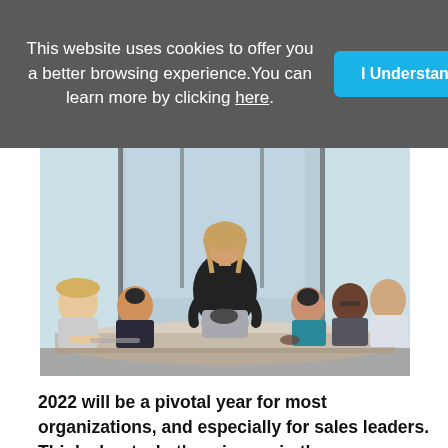This website uses cookies to offer you a better browsing experience. You can learn more by clicking here.
[Figure (photo): A woman standing with her back to the camera presenting to a group of colleagues seated around a conference table in an office meeting room with large windows.]
2022 will be a pivotal year for most organizations, and especially for sales leaders. Think about what's going on in the marketplace. There are more jobs than